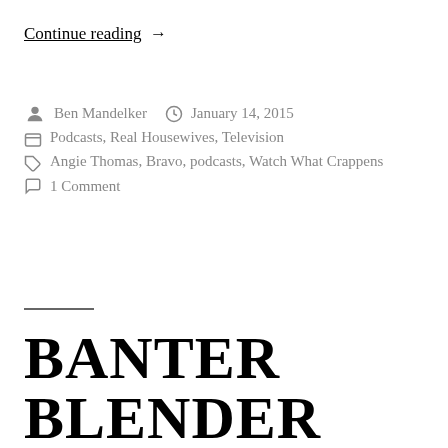Continue reading →
Ben Mandelker · January 14, 2015
Podcasts, Real Housewives, Television
Angie Thomas, Bravo, podcasts, Watch What Crappens
1 Comment
BANTER BLENDER